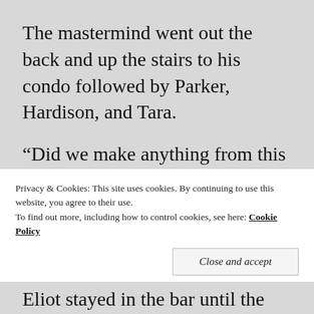The mastermind went out the back and up the stairs to his condo followed by Parker, Hardison, and Tara.
“Did we make anything from this little dust-up?” The blonde grifter asked.
“Your twenty percent is already in your account.” Hardison snapped as he let the
Privacy & Cookies: This site uses cookies. By continuing to use this website, you agree to their use.
To find out more, including how to control cookies, see here: Cookie Policy
Close and accept
Eliot stayed in the bar until the Doyles and